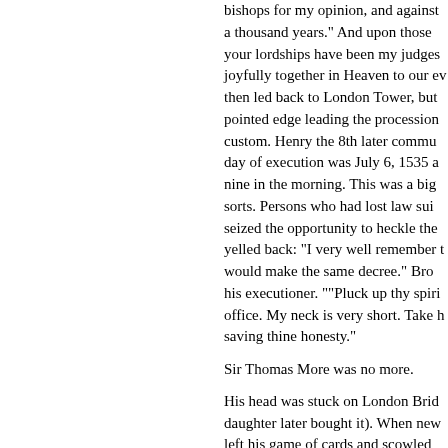bishops for my opinion, and against a thousand years." And upon those your lordships have been my judges joyfully together in Heaven to our ev then led back to London Tower, but pointed edge leading the procession custom. Henry the 8th later commu day of execution was July 6, 1535 a nine in the morning. This was a big sorts. Persons who had lost law sui seized the opportunity to heckle the yelled back: "I very well remember t would make the same decree." Bro his executioner. ""Pluck up thy spiri office. My neck is very short. Take h saving thine honesty."

Sir Thomas More was no more.

His head was stuck on London Brid daughter later bought it). When new left his game of cards and scowled cause of this man's death." But Her